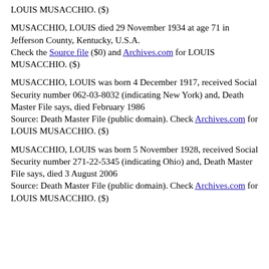LOUIS MUSACCHIO. ($)
MUSACCHIO, LOUIS died 29 November 1934 at age 71 in Jefferson County, Kentucky, U.S.A. Check the Source file ($0) and Archives.com for LOUIS MUSACCHIO. ($)
MUSACCHIO, LOUIS was born 4 December 1917, received Social Security number 062-03-8032 (indicating New York) and, Death Master File says, died February 1986 Source: Death Master File (public domain). Check Archives.com for LOUIS MUSACCHIO. ($)
MUSACCHIO, LOUIS was born 5 November 1928, received Social Security number 271-22-5345 (indicating Ohio) and, Death Master File says, died 3 August 2006 Source: Death Master File (public domain). Check Archives.com for LOUIS MUSACCHIO. ($)